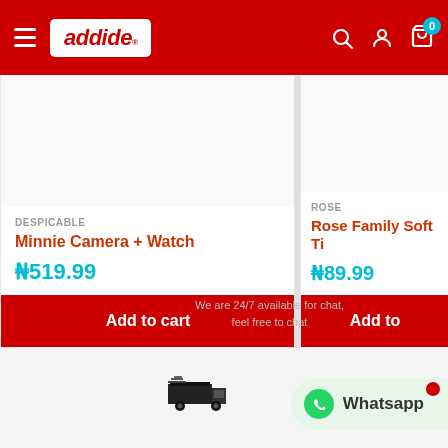addide header navigation
DESPICABLE
Minnie Camera + Watch
₦519.99
Add to cart
ROSE
Rose Family Soft Ti
₦89.99
Add to
We are 24/7 available for chat, feel free to chat
[Figure (illustration): Delivery truck icon]
[Figure (logo): Whatsapp button with green background]